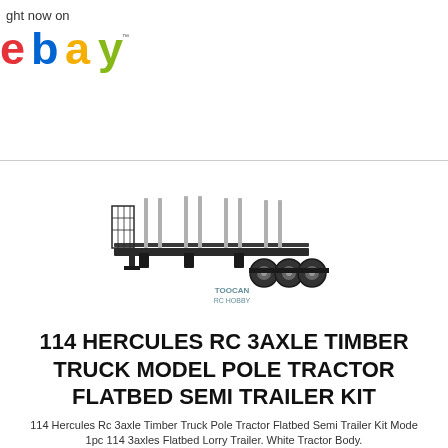ght now on eBay
[Figure (photo): Product photo of a 1/14 Hercules RC 3-axle timber truck flatbed semi trailer kit model, shown in black/dark grey with upright stake poles, on white background. Watermark reads TOOCAN RC HOBBY.]
114 HERCULES RC 3AXLE TIMBER TRUCK MODEL POLE TRACTOR FLATBED SEMI TRAILER KIT
114 Hercules Rc 3axle Timber Truck Pole Tractor Flatbed Semi Trailer Kit Mode 1pc 114 3axles Flatbed Lorry Trailer. White Tractor Body.